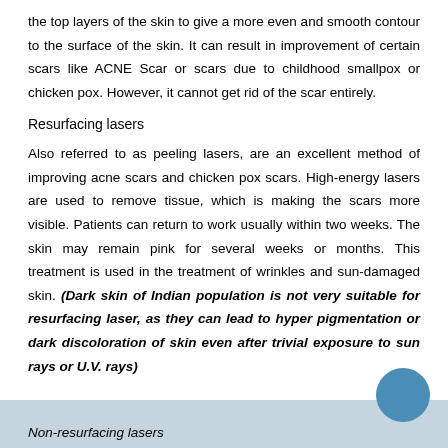the top layers of the skin to give a more even and smooth contour to the surface of the skin. It can result in improvement of certain scars like ACNE Scar or scars due to childhood smallpox or chicken pox. However, it cannot get rid of the scar entirely.
Resurfacing lasers
Also referred to as peeling lasers, are an excellent method of improving acne scars and chicken pox scars. High-energy lasers are used to remove tissue, which is making the scars more visible. Patients can return to work usually within two weeks. The skin may remain pink for several weeks or months. This treatment is used in the treatment of wrinkles and sun-damaged skin. (Dark skin of Indian population is not very suitable for resurfacing laser, as they can lead to hyper pigmentation or dark discoloration of skin even after trivial exposure to sun rays or U.V. rays)
Non-resurfacing lasers